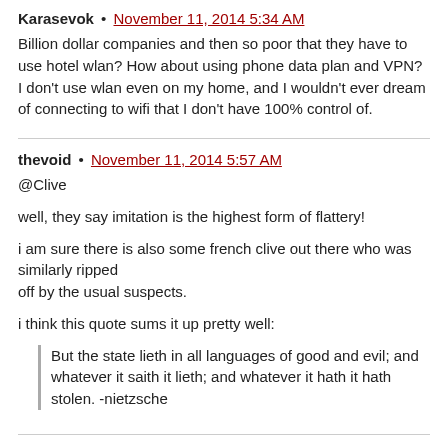Karasevok • November 11, 2014 5:34 AM
Billion dollar companies and then so poor that they have to use hotel wlan? How about using phone data plan and VPN? I don't use wlan even on my home, and I wouldn't ever dream of connecting to wifi that I don't have 100% control of.
thevoid • November 11, 2014 5:57 AM
@Clive
well, they say imitation is the highest form of flattery!
i am sure there is also some french clive out there who was similarly ripped
off by the usual suspects.
i think this quote sums it up pretty well:
But the state lieth in all languages of good and evil; and whatever it saith it lieth; and whatever it hath it hath stolen. -nietzsche